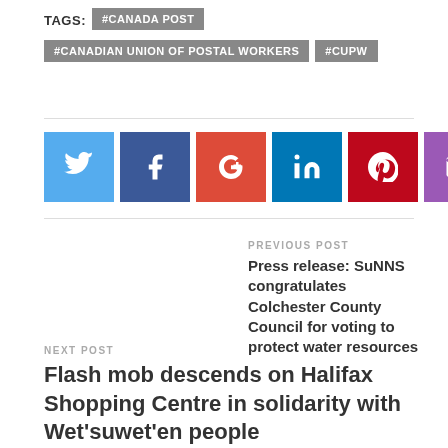TAGS: #CANADA POST #CANADIAN UNION OF POSTAL WORKERS #CUPW
[Figure (other): Social sharing icons: Twitter (blue), Facebook (dark blue), Google+ (red), LinkedIn (teal), Pinterest (dark red), Email (purple)]
PREVIOUS POST
Press release: SuNNS congratulates Colchester County Council for voting to protect water resources
NEXT POST
Flash mob descends on Halifax Shopping Centre in solidarity with Wet'suwet'en people